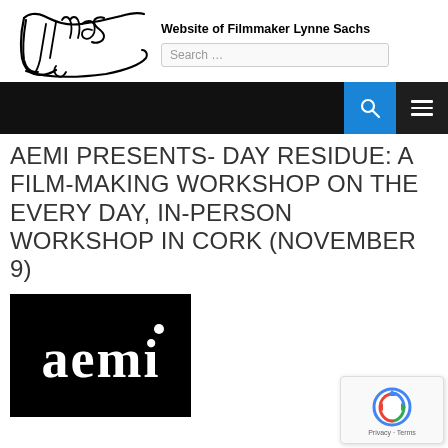Website of Filmmaker Lynne Sachs
AEMI PRESENTS- DAY RESIDUE: A FILM-MAKING WORKSHOP ON THE EVERY DAY, IN-PERSON WORKSHOP IN CORK (NOVEMBER 9)
[Figure (logo): AEMI logo — white text 'aemi' in bold serif font on black background with a circular dot above the letter 'i']